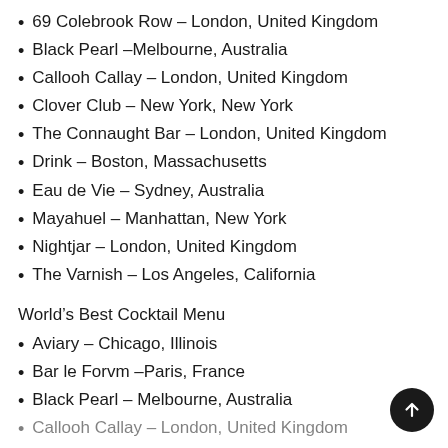69 Colebrook Row – London, United Kingdom
Black Pearl –Melbourne, Australia
Callooh Callay – London, United Kingdom
Clover Club – New York, New York
The Connaught Bar – London, United Kingdom
Drink – Boston, Massachusetts
Eau de Vie – Sydney, Australia
Mayahuel – Manhattan, New York
Nightjar – London, United Kingdom
The Varnish – Los Angeles, California
World's Best Cocktail Menu
Aviary – Chicago, Illinois
Bar le Forvm –Paris, France
Black Pearl – Melbourne, Australia
Callooh Callay – London, United Kingdom